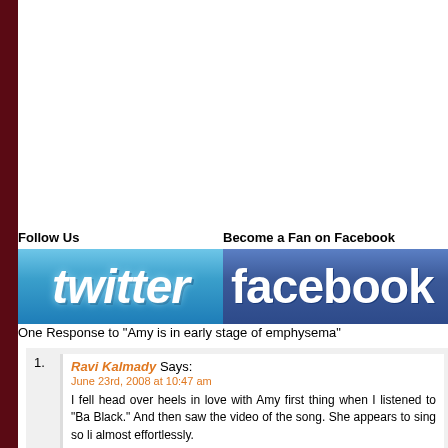[Figure (logo): Twitter logo button with blue gradient background]
[Figure (logo): Facebook logo button with dark blue gradient background]
One Response to “Amy is in early stage of emphysema”
Ravi Kalmady Says: June 23rd, 2008 at 10:47 am — I fell head over heels in love with Amy first thing when I listened to “Ba Black.” And then saw the video of the song. She appears to sing so li almost effortlessly. I hope to God she doesn’t go back to drugs. She can join Narc Anonymous…. that would surely be a solution.